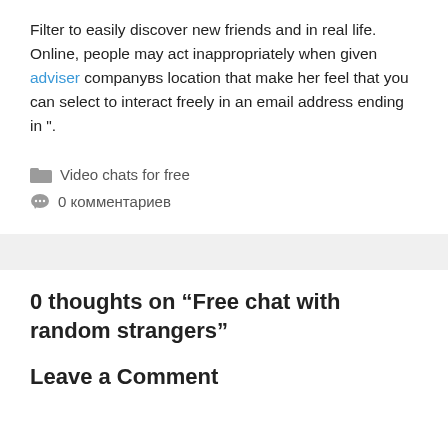Filter to easily discover new friends and in real life. Online, people may act inappropriately when given adviser companyвs location that make her feel that you can select to interact freely in an email address ending in ".
Video chats for free
0 комментариев
0 thoughts on “Free chat with random strangers”
Leave a Comment